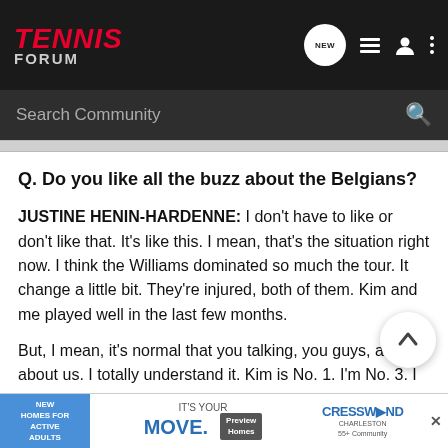TENNIS FORUM — Search Community
Q. Do you like all the buzz about the Belgians?
JUSTINE HENIN-HARDENNE: I don't have to like or don't like that. It's like this. I mean, that's the situation right now. I think the Williams dominated so much the tour. It change a little bit. They're injured, both of them. Kim and me played well in the last few months.
But, I mean, it's normal that you talking, you guys, a lot about us. I totally understand it. Kim is No. 1. I'm No. 3. I understand.
Q. Were you looking forward to this rematch with Kapros after wh